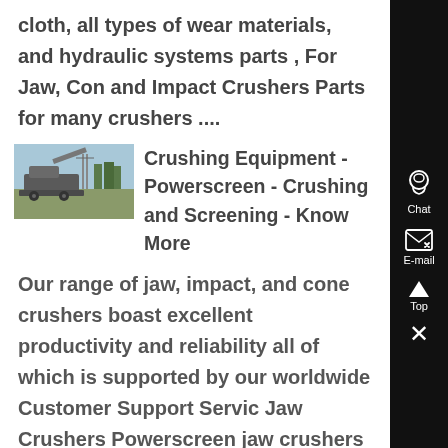cloth, all types of wear materials, and hydraulic systems parts , For Jaw, Con and Impact Crushers Parts for many crushers ....
[Figure (photo): Thumbnail photo of crushing equipment machinery in an outdoor setting with blue sky and trees in background]
Crushing Equipment - Powerscreen - Crushing and Screening - Know More
Our range of jaw, impact, and cone crushers boast excellent productivity and reliability all of which is supported by our worldwide Customer Support Servic Jaw Crushers Powerscreen jaw crushers are designed to exceed the primary crushing needs of customers i